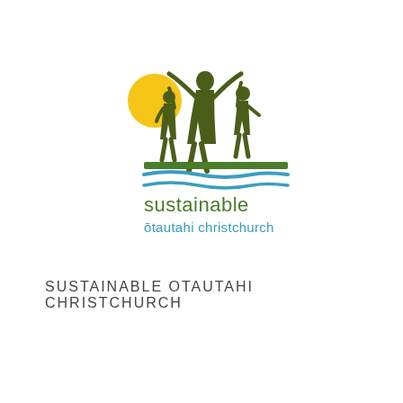[Figure (logo): Sustainable Otautahi Christchurch logo: silhouettes of three people (adult and two children) standing on green and blue wavy lines representing land and water, with a yellow sun to the upper left. Below the graphic: 'sustainable' in green lowercase text, then 'otautahi christchurch' in teal/green lowercase text.]
SUSTAINABLE OTAUTAHI CHRISTCHURCH